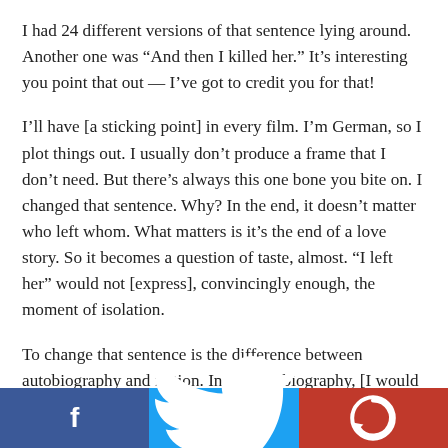I had 24 different versions of that sentence lying around. Another one was “And then I killed her.” It’s interesting you point that out — I’ve got to credit you for that!
I’ll have [a sticking point] in every film. I’m German, so I plot things out. I usually don’t produce a frame that I don’t need. But there’s always this one bone you bite on. I changed that sentence. Why? In the end, it doesn’t matter who left whom. What matters is it’s the end of a love story. So it becomes a question of taste, almost. “I left her” would not [express], convincingly enough, the moment of isolation.
To change that sentence is the difference between autobiography and fiction. In my autobiography, [I would have written,] “I went to this office, and I said I do…
[Figure (infographic): Footer bar with Facebook share button (blue), Twitter share button (light blue), and a red logo button with a circular arrow logo on the right.]